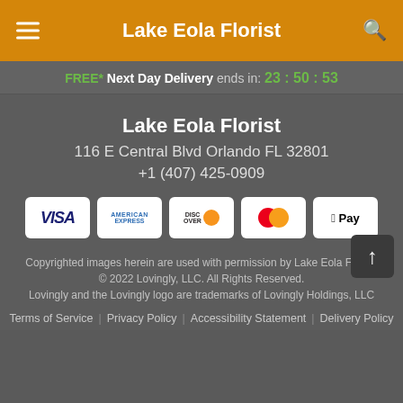Lake Eola Florist
FREE* Next Day Delivery ends in: 23 : 50 : 53
Lake Eola Florist
116 E Central Blvd Orlando FL 32801
+1 (407) 425-0909
[Figure (logo): Payment method icons: Visa, American Express, Discover, MasterCard, Apple Pay]
Copyrighted images herein are used with permission by Lake Eola Florist.
© 2022 Lovingly, LLC. All Rights Reserved.
Lovingly and the Lovingly logo are trademarks of Lovingly Holdings, LLC
Terms of Service | Privacy Policy | Accessibility Statement | Delivery Policy